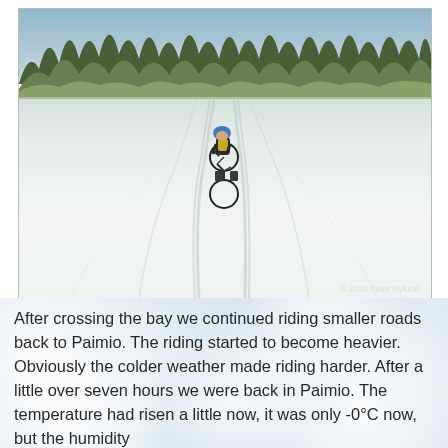[Figure (photo): A cyclist wearing a blue helmet and yellow jacket rides a bicycle across a snowy open field or frozen lake. Tire tracks are visible in the snow. A treeline of snow-covered evergreen trees is visible in the background under an overcast winter sky. Copyright text reads: © 2010 Peter Nylund]
After crossing the bay we continued riding smaller roads back to Paimio. The riding started to become heavier. Obviously the colder weather made riding harder. After a little over seven hours we were back in Paimio. The temperature had risen a little now, it was only -0°C now, but the humidity